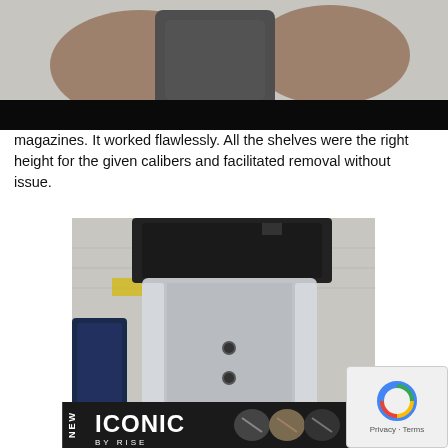[Figure (photo): Close-up photo of a hand holding a black firearm magazine/object, partial view cropped at top of page with a dark black bar below]
magazines. It worked flawlessly. All the shelves were the right height for the given calibers and facilitated removal without issue.
[Figure (photo): Close-up photo of a silver/aluminum magazine loader or tool component viewed from above, showing two small holes, with dark blue magazines visible on the left side and papers/notebooks in the background]
[Figure (photo): Advertising banner for 'ICONIC BY RISE' product showing the logo and product images of what appear to be firearm trigger components, with a 'NEW' vertical label on the left side]